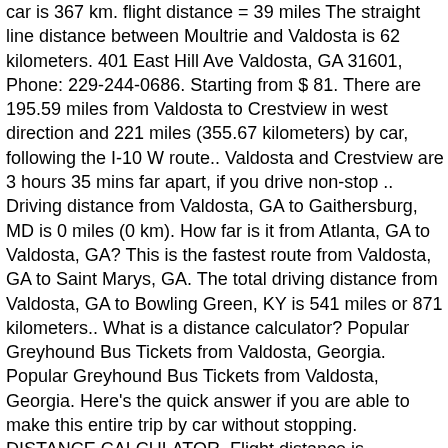car is 367 km. flight distance = 39 miles The straight line distance between Moultrie and Valdosta is 62 kilometers. 401 East Hill Ave Valdosta, GA 31601, Phone: 229-244-0686. Starting from $ 81. There are 195.59 miles from Valdosta to Crestview in west direction and 221 miles (355.67 kilometers) by car, following the I-10 W route.. Valdosta and Crestview are 3 hours 35 mins far apart, if you drive non-stop .. Driving distance from Valdosta, GA to Gaithersburg, MD is 0 miles (0 km). How far is it from Atlanta, GA to Valdosta, GA? This is the fastest route from Valdosta, GA to Saint Marys, GA. The total driving distance from Valdosta, GA to Bowling Green, KY is 541 miles or 871 kilometers.. What is a distance calculator? Popular Greyhound Bus Tickets from Valdosta, Georgia. Popular Greyhound Bus Tickets from Valdosta, Georgia. Here's the quick answer if you are able to make this entire trip by car without stopping. DISTANCE CALCULATOR. Flight distance is approximately 669 miles (1077 km) and flight time from Valdosta, GA to Gaithersburg, MD is 01 hours 20 minutes.Don't forget to check out our "Gas cost calculator" option. One-Way. The driving distance is 231 miles and the flight distance is 205 miles. Seminole Beach: 116.1 mi. The distance calculator helps you figure out how far it is to get from Cincinnati, OH to Valdosta, GA. Tampa to Valdosta distance driving distance = 231 miles. The